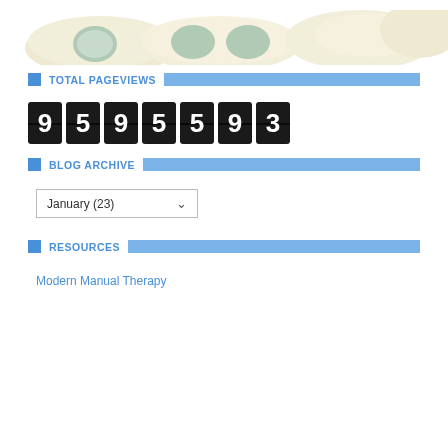[Figure (photo): 3D rendered image of hip/pelvic bone anatomy shown in beige/cream color against white background, cropped to show top portion]
TOTAL PAGEVIEWS
[Figure (infographic): Flip-counter style digit display showing the number 9595593 with each digit on a dark square tile]
BLOG ARCHIVE
January (23)
RESOURCES
Modern Manual Therapy